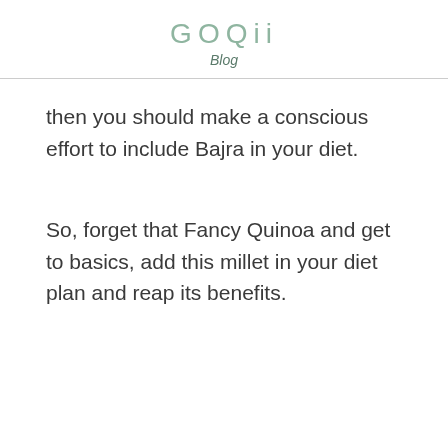GOQii Blog
then you should make a conscious effort to include Bajra in your diet.
So, forget that Fancy Quinoa and get to basics, add this millet in your diet plan and reap its benefits.